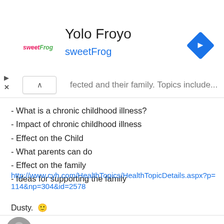[Figure (screenshot): Advertisement banner for Yolo Froyo / sweetFrog with logo, title, and navigation arrow icon]
fected and their family. Topics include...
- What is a chronic childhood illness?
- Impact of chronic childhood illness
- Effect on the Child
- What parents can do
- Effect on the family
- Ideas for supporting the family
http://www.cyh.com/HealthTopics/HealthTopicDetails.aspx?p=114&np=304&id=2578
Dusty. 🙂
LittlebitsMommy